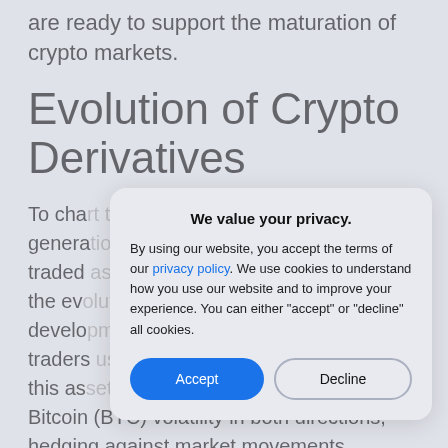are ready to support the maturation of crypto markets.
Evolution of Crypto Derivatives
To cha… genera… traded… the ev… develo… traders… this as… Bitcoin (BTC) volatility in both directions, hedging against market movements,
We value your privacy.
By using our website, you accept the terms of our privacy policy. We use cookies to understand how you use our website and to improve your experience. You can either "accept" or "decline" all cookies.